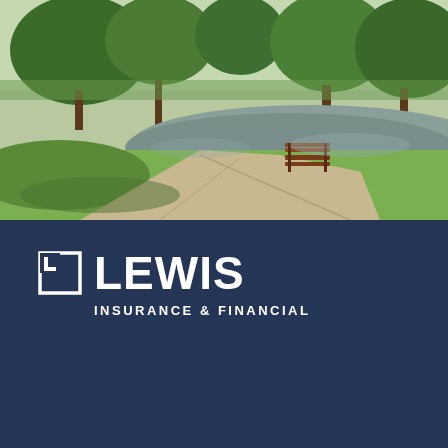[Figure (photo): Outdoor park scene with a pond, bench, trees, and a concrete walkway on a sunny day.]
[Figure (logo): Lewis Insurance & Financial logo — square L icon beside the word LEWIS in white bold text, with INSURANCE & FINANCIAL below in smaller white caps.]
717-872-2466
244 Manor Avenue
Millersville, PA 17551